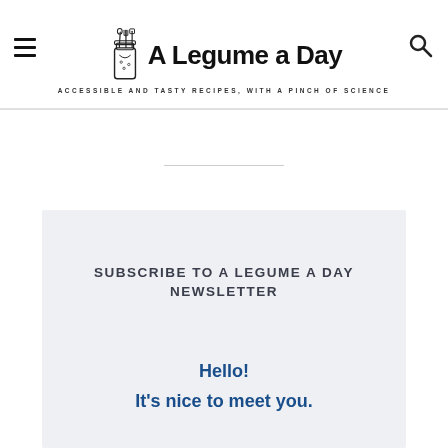[Figure (logo): A Legume a Day logo with illustrated jar of cooking utensils and text 'A Legume a Day' with subtitle 'Accessible and Tasty Recipes, With a Pinch of Science']
SUBSCRIBE TO A LEGUME A DAY NEWSLETTER
Hello!
It's nice to meet you.